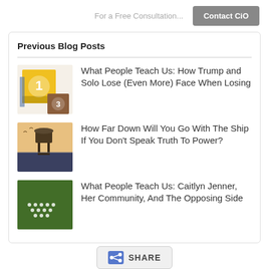For a Free Consultation...   Contact CiO
Previous Blog Posts
What People Teach Us: How Trump and Solo Lose (Even More) Face When Losing
How Far Down Will You Go With The Ship If You Don't Speak Truth To Power?
What People Teach Us: Caitlyn Jenner, Her Community, And The Opposing Side
SHARE